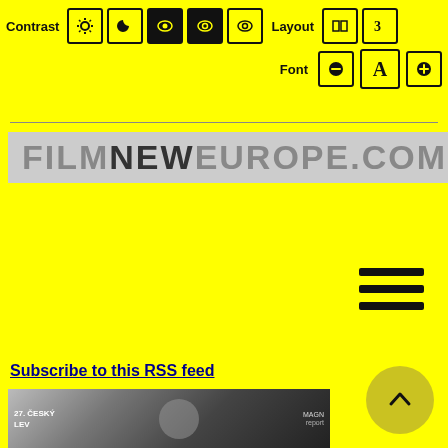[Figure (screenshot): Website accessibility toolbar with Contrast options (sun icon, moon/crescent icon, dark eye icons) and Layout options (two icon buttons), plus Font size controls (minus, A, plus).]
[Figure (logo): FILMNEWEUROPE.COM logo in grey box — FILM and EUROPE in light grey, NEW in dark grey/black, all caps bold.]
[Figure (other): Hamburger menu icon (three horizontal black bars) on yellow background.]
Subscribe to this RSS feed
[Figure (photo): Photo of a man in black suit holding an award trophy, standing in front of a '27. ČESKÝ LEV' branded backdrop with various sponsor logos.]